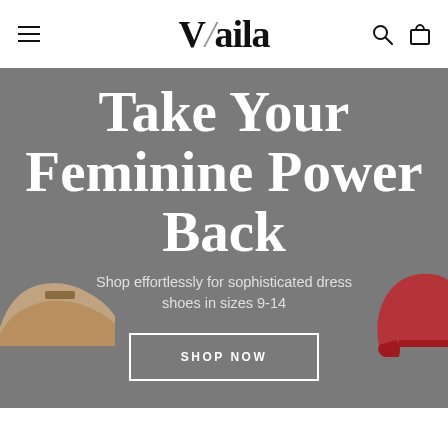Vaila
[Figure (screenshot): Hero banner with dark gray background showing dress shoes on left and right edges. Large white serif bold text reads 'Take Your Feminine Power Back'. Subtitle reads 'Shop effortlessly for sophisticated dress shoes in sizes 9-14'. White outlined button reads 'SHOP NOW'.]
Take Your Feminine Power Back
Shop effortlessly for sophisticated dress shoes in sizes 9-14
SHOP NOW